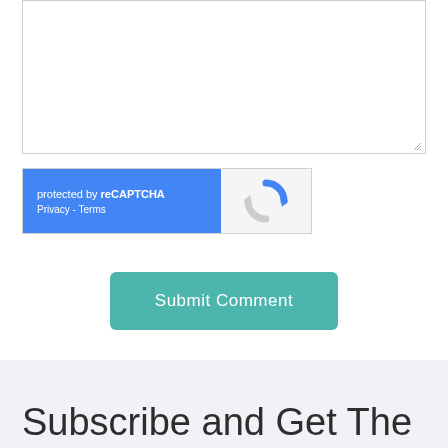[Figure (screenshot): Empty textarea input box with resize handle in bottom-right corner]
[Figure (screenshot): reCAPTCHA widget with blue left panel showing 'protected by reCAPTCHA' text with Privacy and Terms links, and gray right panel showing the reCAPTCHA logo]
[Figure (screenshot): Teal/green 'Submit Comment' button]
Subscribe and Get The